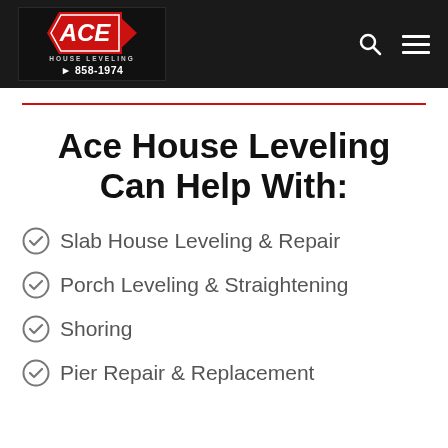[Figure (logo): Ace House Leveling logo with red hexagon badge, white ACE text, and phone number 858-1974]
Ace House Leveling Can Help With:
Slab House Leveling & Repair
Porch Leveling & Straightening
Shoring
Pier Repair & Replacement